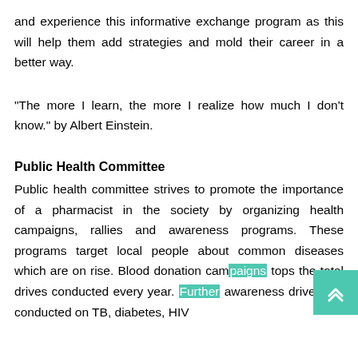and experience this informative exchange program as this will help them add strategies and mold their career in a better way.
“The more I learn, the more I realize how much I don’t know.” by Albert Einstein.
Public Health Committee
Public health committee strives to promote the importance of a pharmacist in the society by organizing health campaigns, rallies and awareness programs. These programs target local people about common diseases which are on rise. Blood donation campaigns tops the total drives conducted every year. Further awareness drives are conducted on TB, diabetes, HIV